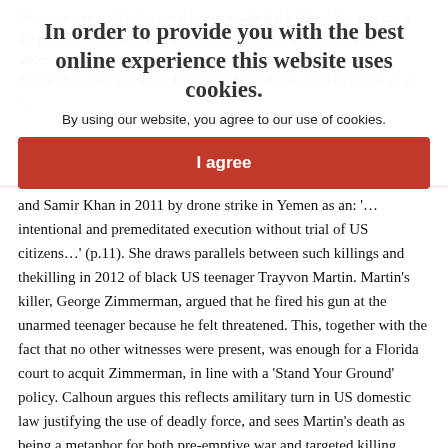In order to provide you with the best online experience this website uses cookies.
By using our website, you agree to our use of cookies.
I agree
She examines and challenges the way in which the 1 Republic espousing the principles of civil rights and legal freedoms as a democracy is undermined by its own legal system. Calhoun describes the deaths of Anwar al-Awlaki and Samir Khan in 2011 by drone strike in Yemen as an: '… intentional and premeditated execution without trial of US citizens…' (p.11). She draws parallels between such killings and thekilling in 2012 of black US teenager Trayvon Martin. Martin's killer, George Zimmerman, argued that he fired his gun at the unarmed teenager because he felt threatened. This, together with the fact that no other witnesses were present, was enough for a Florida court to acquit Zimmerman, in line with a 'Stand Your Ground' policy. Calhoun argues this reflects amilitary turn in US domestic law justifying the use of deadly force, and sees Martin's death as being a metaphor for both pre-emptive war and targeted killing. Although Calhoun notes Obama's public disquiet over the Trayvon Martin killing she questions his silence over the similar killing of another